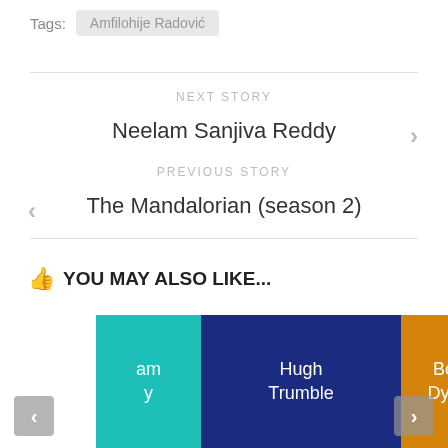Tags: Amfilohije Radović
NEXT STORY
Neelam Sanjiva Reddy
PREVIOUS STORY
The Mandalorian (season 2)
YOU MAY ALSO LIKE...
[Figure (other): Three colored cards in a carousel: partial teal card with text 'am y', dark blue card with 'Hugh Trumble', partial orange card with 'Bos Dyna'. Navigation arrows on left and right sides.]